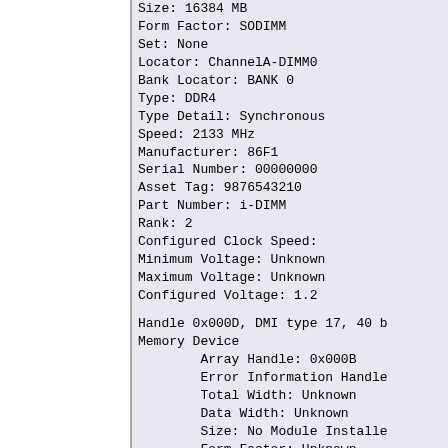Size: 16384 MB
Form Factor: SODIMM
Set: None
Locator: ChannelA-DIMM0
Bank Locator: BANK 0
Type: DDR4
Type Detail: Synchronous
Speed: 2133 MHz
Manufacturer: 86F1
Serial Number: 00000000
Asset Tag: 9876543210
Part Number: i-DIMM
Rank: 2
Configured Clock Speed:
Minimum Voltage: Unknown
Maximum Voltage: Unknown
Configured Voltage: 1.2
Handle 0x000D, DMI type 17, 40 b
Memory Device
	Array Handle: 0x000B
	Error Information Handle
	Total Width: Unknown
	Data Width: Unknown
	Size: No Module Installe
	Form Factor: Unknown
	Set: None
	Locator: ChannelB-DIMM0
	Bank Locator: BANK 2
	Type: Unknown
	Type Detail: None
	Speed: Unknown
	Manufacturer: Not Specif